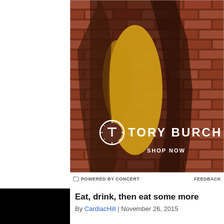[Figure (photo): Tory Burch advertisement featuring a model wearing a brown and yellow long-sleeve dress, posed against a brick wall. The Tory Burch logo (circular T monogram) and brand name appear in white text, with 'SHOP NOW' below. Footer reads 'POWERED BY CONCERT' on left and 'FEEDBACK' on right.]
G POWERED BY CONCERT    FEEDBACK
[Figure (photo): Black thumbnail image for article]
Eat, drink, then eat some more
By CardiacHill | November 26, 2015